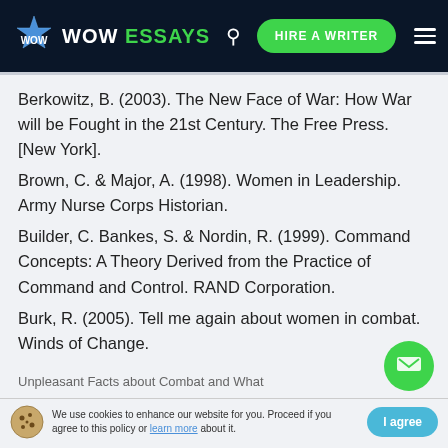WOW ESSAYS | HIRE A WRITER
Berkowitz, B. (2003). The New Face of War: How War will be Fought in the 21st Century. The Free Press. [New York].
Brown, C. & Major, A. (1998). Women in Leadership. Army Nurse Corps Historian.
Builder, C. Bankes, S. & Nordin, R. (1999). Command Concepts: A Theory Derived from the Practice of Command and Control. RAND Corporation.
Burk, R. (2005). Tell me again about women in combat. Winds of Change.
We use cookies to enhance our website for you. Proceed if you agree to this policy or learn more about it.